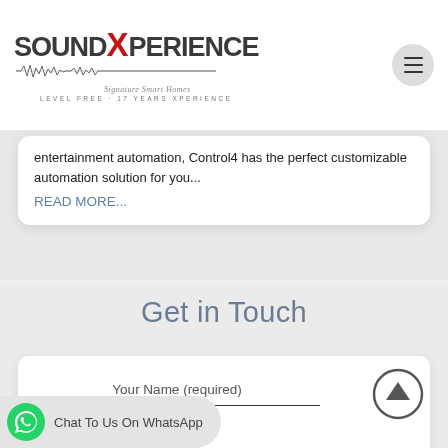[Figure (logo): SoundXperience Signature Smart Homes logo with waveform graphic and tagline]
[Figure (other): Hamburger menu button (three horizontal lines in circle)]
entertainment automation, Control4 has the perfect customizable automation solution for you...
READ MORE...
Get in Touch
Your Name (required)
[Figure (other): Scroll-to-top circular arrow button]
Chat To Us On WhatsApp